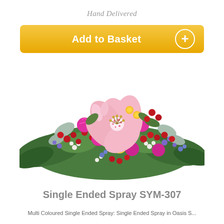Hand Delivered
[Figure (other): Yellow gradient 'Add to Basket' button with white bold text and a white circle plus icon on the right]
[Figure (photo): A colorful single ended floral spray arrangement featuring pink lilies, magenta carnations, red spray carnations, yellow roses, purple statice, and lush green foliage on a white background]
Single Ended Spray SYM-307
Multi Coloured Single Ended Spray: Single Ended Spray in Oasis S...